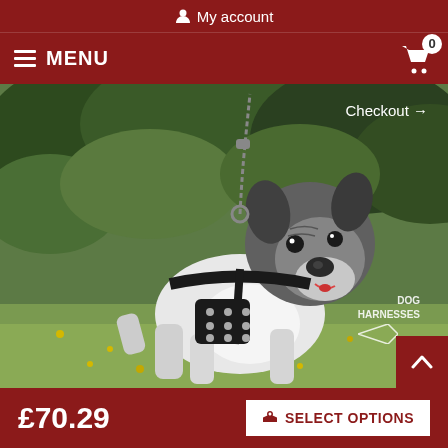My account
MENU  0
[Figure (photo): French Bulldog wearing a black spiked leather harness, standing outdoors on grass with green foliage in background. A chain leash is attached. Checkout → link visible in top right of image. DOG HARNESSES watermark in bottom right.]
Checkout →
£70.29
SELECT OPTIONS